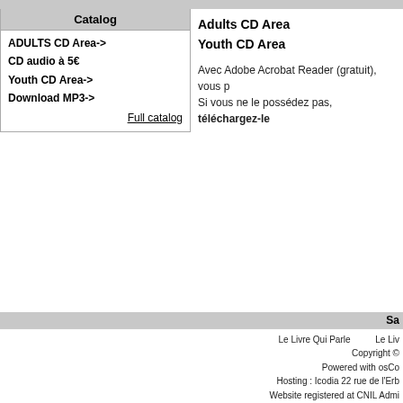Catalog
ADULTS CD Area->
CD audio à 5€
Youth CD Area->
Download MP3->
Full catalog
Adults CD Area
Youth CD Area
Avec Adobe Acrobat Reader (gratuit), vous p... Si vous ne le possédez pas, téléchargez-le...
Sa...
Le Livre Qui Parle   Le Liv...
Copyright ©
Powered with osCo...
Hosting : Icodia 22 rue de l'Erb...
Website registered at CNIL Admi...
More information about audio bo...
Liens amis : Blog du Livre Qui Parl...
"Terroir" "Terroir" ADULTS CD Area Biography - testimonial Biography - Testimonial CD audio à 5€ Classics Classics Nove... comprendre Ebooks Epub Erotica Erotica Esoterism Essays Essays Essays Hero shorts Historical Novels Historical s... Discovery Mythology Mythology Mythology Nature - Environment Nature - Environment Novels Novels Novels Personal Dev... music Religion & Spirituality Sci-fi Sci-fi Sci-fi Sciences Sciences Short stories Short stories singing poetry Singing p... storytellers Talks - Debates - Speech Talks - debates - speech Theater Theater Theater T...